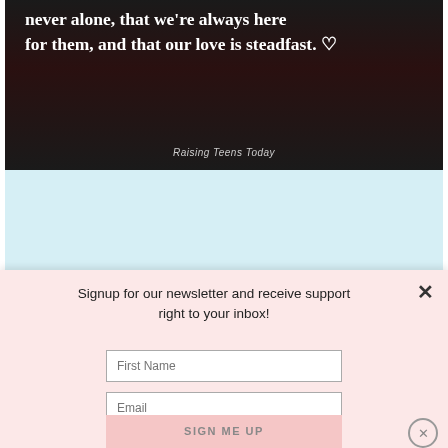[Figure (photo): Dark background image with white bold quote text: 'never alone, that we're always here for them, and that our love is steadfast.' with a heart symbol, and 'Raising Teens Today' attribution below.]
[Figure (illustration): Light blue background section with handwritten-style bold black text: 'Sometimes, older kids need just as much attention from you as']
Signup for our newsletter and receive support right to your inbox!
First Name
Email
SIGN ME UP